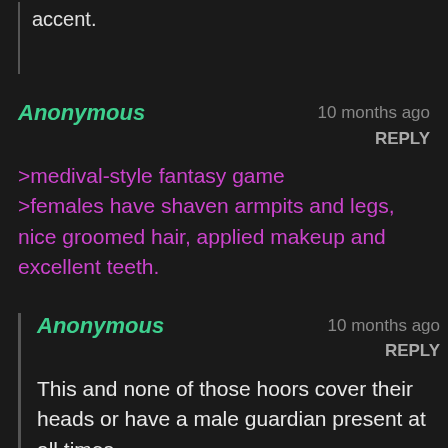accent.
Anonymous
10 months ago
REPLY
>medival-style fantasy game
>females have shaven armpits and legs, nice groomed hair, applied makeup and excellent teeth.
Anonymous
10 months ago
REPLY
This and none of those hoors cover their heads or have a male guardian present at all times